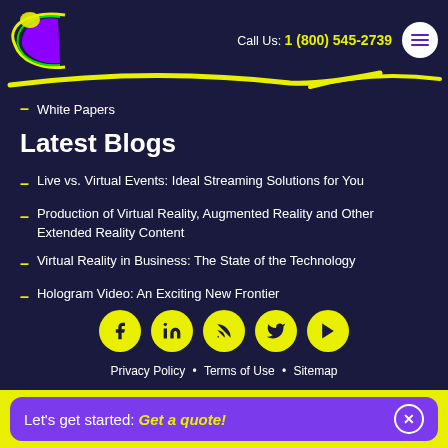[Figure (logo): Colorful C-shaped logo with purple, yellow, and green colors on dark navy background]
Call Us: 1 (800) 545-2739
White Papers
Latest Blogs
Live vs. Virtual Events: Ideal Streaming Solutions for You
Production of Virtual Reality, Augmented Reality and Other Extended Reality Content
Virtual Reality in Business: The State of the Technology
Hologram Video: An Exciting New Frontier
[Figure (infographic): Row of 5 yellow circular social media icons: Facebook, LinkedIn, RSS, Twitter, YouTube]
Privacy Policy • Terms of Use • Sitemap
Let's get started: Get a quote!